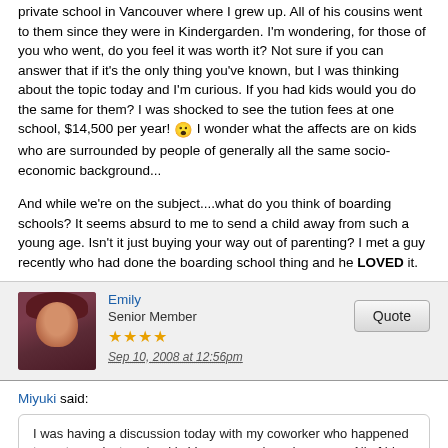private school in Vancouver where I grew up. All of his cousins went to them since they were in Kindergarden. I'm wondering, for those of you who went, do you feel it was worth it? Not sure if you can answer that if it's the only thing you've known, but I was thinking about the topic today and I'm curious. If you had kids would you do the same for them? I was shocked to see the tution fees at one school, $14,500 per year! 😮 I wonder what the affects are on kids who are surrounded by people of generally all the same socio-economic background...
And while we're on the subject....what do you think of boarding schools? It seems absurd to me to send a child away from such a young age. Isn't it just buying your way out of parenting? I met a guy recently who had done the boarding school thing and he LOVED it.
Emily
Senior Member
Sep 10, 2008 at 12:56pm
Miyuki said:
I was having a discussion today with my coworker who happened to go to a private school in Vancouver where I grew up. All of his cousins went to them since they were in Kindergarden. I'm wondering, for those of you who went, do you feel it was worth it?